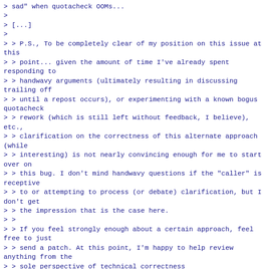> sad" when quotacheck OOMs...
>
> [...]
>
> > P.S., To be completely clear of my position on this issue at this
> > point... given the amount of time I've already spent responding to
> > handwavy arguments (ultimately resulting in discussing trailing off
> > until a repost occurs), or experimenting with a known bogus quotacheck
> > rework (which is still left without feedback, I believe), etc.,
> > clarification on the correctness of this alternate approach (while
> > interesting) is not nearly convincing enough for me to start over on
> > this bug. I don't mind handwavy questions if the "caller" is receptive
> > to or attempting to process (or debate) clarification, but I don't get
> > the impression that is the case here.
> >
> > If you feel strongly enough about a certain approach, feel free to just
> > send a patch. At this point, I'm happy to help review anything from the
> > sole perspective of technical correctness
> (regardless of whether the I